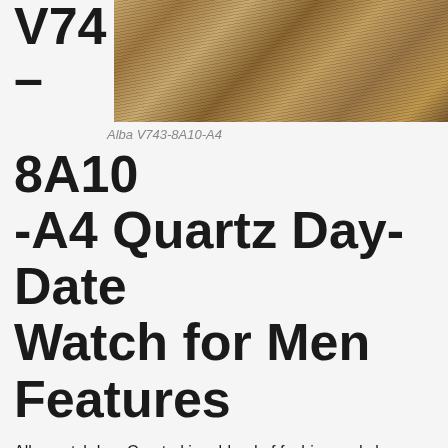[Figure (photo): Close-up photo of a watch band with a wooden/striped texture pattern, cropped at top of page]
Alba V743-8A10-A4
8A10 -A4 Quartz Day-Date Watch for Men Features
Alba watch has Created in a blend of fashion and class, this man Alba V743-8A10-A4 Quartz Day Date timepiece exhibits a bold style that adds flare to your collection. This handsome timepiece offers a stainless steel band and a confident Quartz battery.